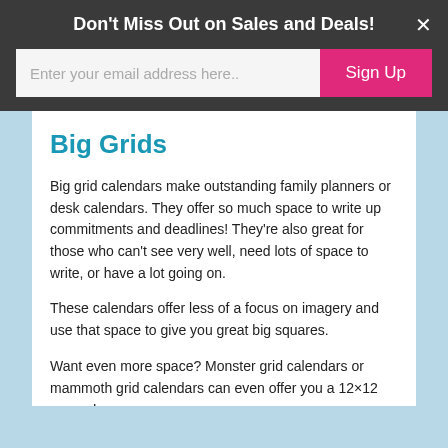Don't Miss Out on Sales and Deals!
Enter your email address here..
Sign Up
Big Grids
Big grid calendars make outstanding family planners or desk calendars. They offer so much space to write up commitments and deadlines! They're also great for those who can't see very well, need lots of space to write, or have a lot going on.
These calendars offer less of a focus on imagery and use that space to give you great big squares.
Want even more space? Monster grid calendars or mammoth grid calendars can even offer you a 12×12 square!
Page-a-Day Calendars